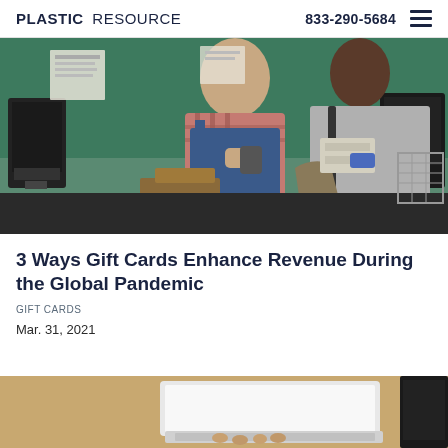PLASTIC RESOURCE | 833-290-5684
[Figure (photo): A store vendor in a blue apron and plaid shirt using a card reader device, with a female customer paying at a market or grocery checkout counter.]
3 Ways Gift Cards Enhance Revenue During the Global Pandemic
GIFT CARDS
Mar. 31, 2021
[Figure (photo): A person typing on a laptop keyboard, partially visible at the bottom of the page.]